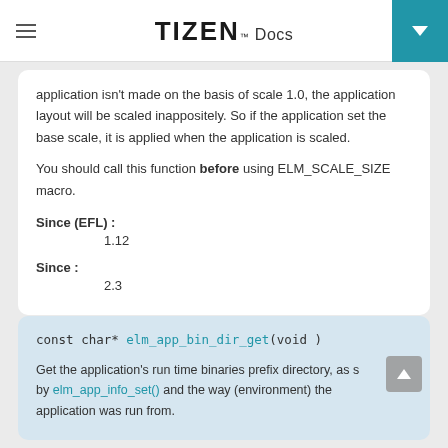TIZEN Docs
application isn't made on the basis of scale 1.0, the application layout will be scaled inappositely. So if the application set the base scale, it is applied when the application is scaled.
You should call this function before using ELM_SCALE_SIZE macro.
Since (EFL) : 1.12
Since : 2.3
const char* elm_app_bin_dir_get(void )
Get the application's run time binaries prefix directory, as s by elm_app_info_set() and the way (environment) the application was run from.